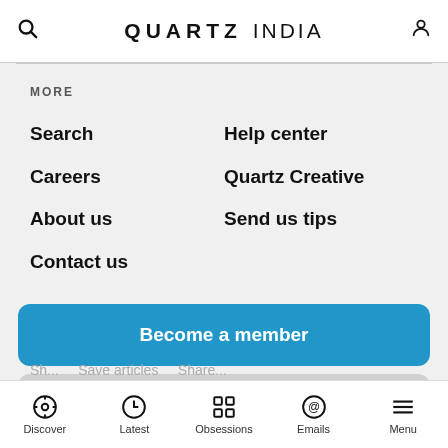QUARTZ INDIA
MORE
Search
Help center
Careers
Quartz Creative
About us
Send us tips
Contact us
Become a member
Download our app
Discover | Latest | Obsessions | Emails | Menu